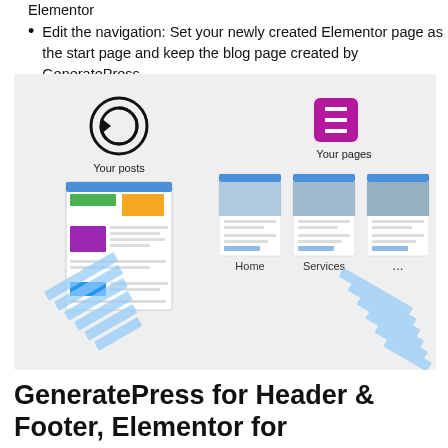Elementor
Edit the navigation: Set your newly created Elementor page as the start page and keep the blog page created by GeneratePress
[Figure (infographic): Diagram showing GeneratePress (circular G logo) for 'Your posts' with a blog page mockup on the left, and Elementor (red E logo) for 'Your pages' showing three page mockups labeled Home, Services, and ... on the right. Decorative blue stacked shapes at bottom corners.]
GeneratePress for Header & Footer, Elementor for